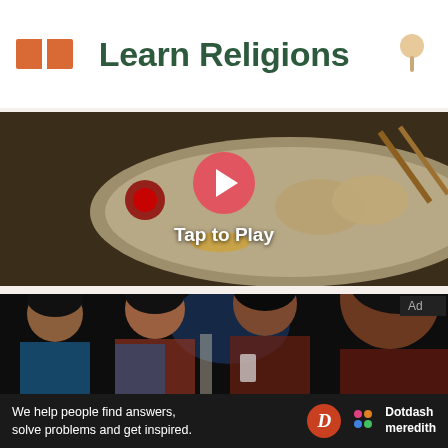Learn Religions
[Figure (screenshot): Video thumbnail showing a decorative plate with dumplings, red flower garnish and chopsticks, with a pink/red circular play button overlay and 'Tap to Play' text]
[Figure (photo): Photo of four Indian women in traditional clothing looking down at phones/devices at what appears to be an event or conference]
We help people find answers, solve problems and get inspired. Dotdash meredith